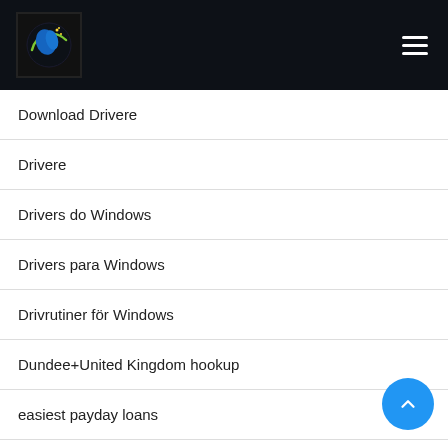[Figure (logo): Website logo with circular design on dark background, plus hamburger menu icon]
Download Drivere
Drivere
Drivers do Windows
Drivers para Windows
Drivrutiner för Windows
Dundee+United Kingdom hookup
easiest payday loans